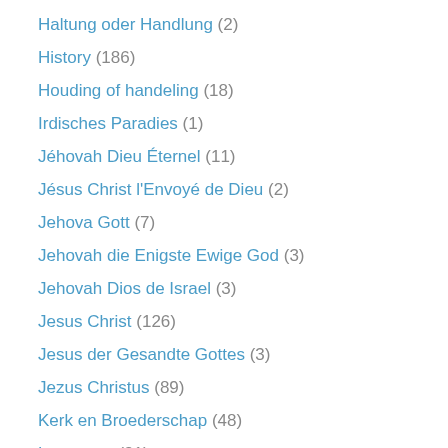Haltung oder Handlung (2)
History (186)
Houding of handeling (18)
Irdisches Paradies (1)
Jéhovah Dieu Éternel (11)
Jésus Christ l'Envoyé de Dieu (2)
Jehova Gott (7)
Jehovah die Enigste Ewige God (3)
Jehovah Dios de Israel (3)
Jesus Christ (126)
Jesus der Gesandte Gottes (3)
Jezus Christus (89)
Kerk en Broederschap (48)
Language (31)
Man (85)
Mensch (3)
Menselijk wezen (95)
Menswees (2)
Nature (1)
Natuur (6)